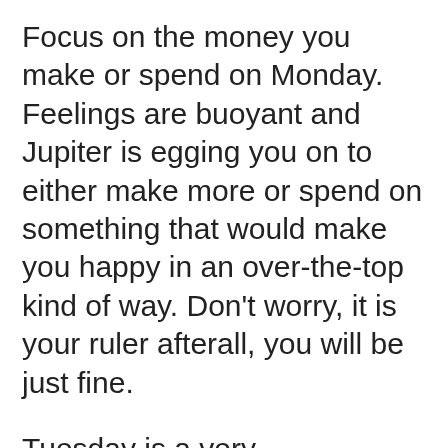Focus on the money you make or spend on Monday. Feelings are buoyant and Jupiter is egging you on to either make more or spend on something that would make you happy in an over-the-top kind of way. Don't worry, it is your ruler afterall, you will be just fine.
Tuesday is a very communicative day. Phones ringing, emails piling up, short trips and meetings, it could be a bit of a madhouse but